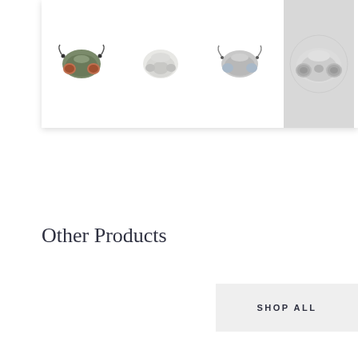[Figure (photo): Product gallery showing four respirator/half-mask products. Three thumbnails on white background and one highlighted thumbnail on gray background (rightmost, currently selected).]
Other Products
SHOP ALL